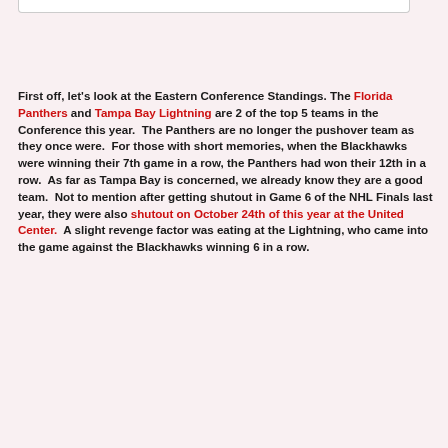First off, let's look at the Eastern Conference Standings. The Florida Panthers and Tampa Bay Lightning are 2 of the top 5 teams in the Conference this year. The Panthers are no longer the pushover team as they once were. For those with short memories, when the Blackhawks were winning their 7th game in a row, the Panthers had won their 12th in a row. As far as Tampa Bay is concerned, we already know they are a good team. Not to mention after getting shutout in Game 6 of the NHL Finals last year, they were also shutout on October 24th of this year at the United Center. A slight revenge factor was eating at the Lightning, who came into the game against the Blackhawks winning 6 in a row.